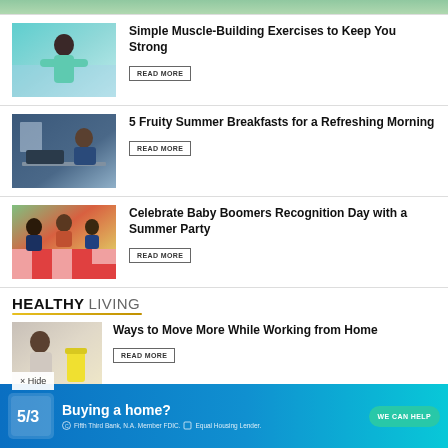[Figure (photo): Cropped top portion of an article image, mostly cut off]
Simple Muscle-Building Exercises to Keep You Strong
READ MORE
[Figure (photo): Man in blue shirt at a desk with laptop and food items]
5 Fruity Summer Breakfasts for a Refreshing Morning
READ MORE
[Figure (photo): Family gathered around a table with checkered tablecloth for a summer party]
Celebrate Baby Boomers Recognition Day with a Summer Party
READ MORE
HEALTHY LIVING
[Figure (photo): Person working from home with beverage]
Ways to Move More While Working from Home
READ MORE
× Hide
[Figure (other): Fifth Third Bank advertisement: Buying a home? WE CAN HELP. Fifth Third Bank, N.A. Member FDIC. Equal Housing Lender.]